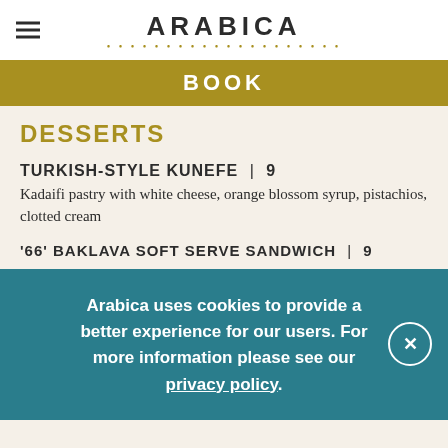ARABICA
BOOK
DESSERTS
TURKISH-STYLE KUNEFE | 9
Kadaifi pastry with white cheese, orange blossom syrup, pistachios, clotted cream
'66' BAKLAVA SOFT SERVE SANDWICH | 9
Arabica uses cookies to provide a better experience for our users. For more information please see our privacy policy.